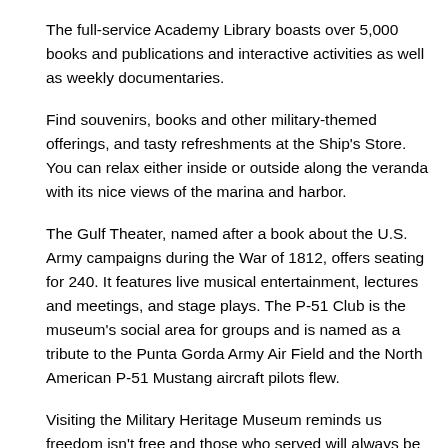The full-service Academy Library boasts over 5,000 books and publications and interactive activities as well as weekly documentaries.
Find souvenirs, books and other military-themed offerings, and tasty refreshments at the Ship's Store. You can relax either inside or outside along the veranda with its nice views of the marina and harbor.
The Gulf Theater, named after a book about the U.S. Army campaigns during the War of 1812, offers seating for 240. It features live musical entertainment, lectures and meetings, and stage plays. The P-51 Club is the museum's social area for groups and is named as a tribute to the Punta Gorda Army Air Field and the North American P-51 Mustang aircraft pilots flew.
Visiting the Military Heritage Museum reminds us freedom isn't free and those who served will always be remembered. This brings us to the most important feature of the Military Heritage Museum: the volunteers. Many are veterans who share their stories, making every visit to the museum a new experience.